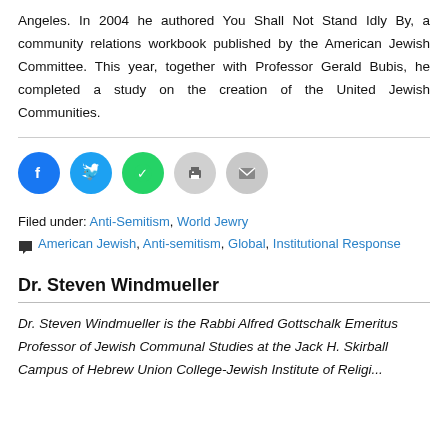Angeles. In 2004 he authored You Shall Not Stand Idly By, a community relations workbook published by the American Jewish Committee. This year, together with Professor Gerald Bubis, he completed a study on the creation of the United Jewish Communities.
Filed under: Anti-Semitism, World Jewry
American Jewish, Anti-semitism, Global, Institutional Response
Dr. Steven Windmueller
Dr. Steven Windmueller is the Rabbi Alfred Gottschalk Emeritus Professor of Jewish Communal Studies at the Jack H. Skirball Campus of Hebrew Union College-Jewish Institute of Religion...